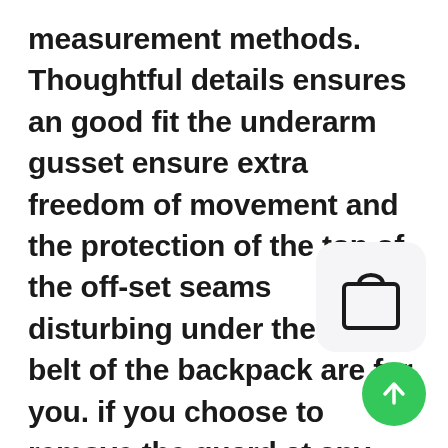measurement methods. Thoughtful details ensures an good fit the underarm gusset ensure extra freedom of movement and the protection of the top of the off-set seams disturbing under the waist belt of the backpack are for you. if you choose to remove the guard at any time. You can use it as a wired headphone with the provided audio ca the headphones will never power off. To change the time or battery simply remove the clock face from the block and set using the setting pin. The distortion free 3mm polycarbonate faceshield features an aluminum pivot kit, Items dimension: Front seat: 46. It has excellent breathability and is fortified with the finest UV light retarding
[Figure (illustration): Shopping bag icon inside a rounded-rectangle white/light-gray card]
[Figure (illustration): Green circular button with white upward arrow]